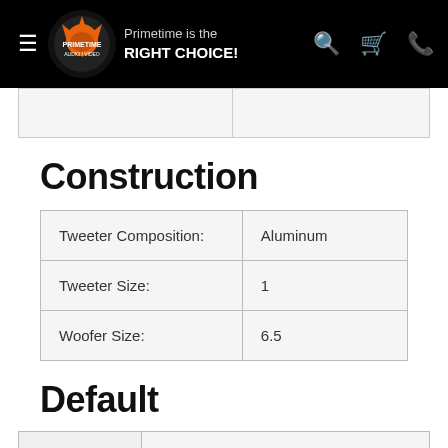Primetime is the RIGHT CHOICE!
|  |  |
Construction
| Tweeter Composition: | Aluminum |
| Tweeter Size: | 1 |
| Woofer Size: | 6.5 |
Default
|  | SVS 6.5" Prime Bookshelf Speaker- |